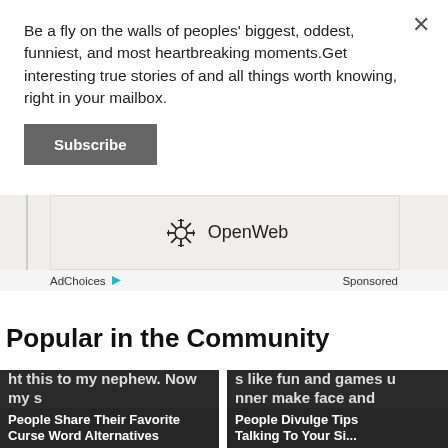Be a fly on the walls of peoples' biggest, oddest, funniest, and most heartbreaking moments.Get interesting true stories of and all things worth knowing, right in your mailbox.
Subscribe
[Figure (logo): OpenWeb logo with starburst icon]
AdChoices ▷   Sponsored
Popular in the Community
[Figure (photo): Card with text: y Hazard!' I said this instead of. once when I tripped and accid ht this to my nephew. Now my s — with title: People Share Their Favorite Curse Word Alternatives]
[Figure (photo): Card with text: oth better be SUPER int one person who's reluc with it. And established s like fun and games u nner make face and — with title: People Divulge Tips Talking To Your Si]